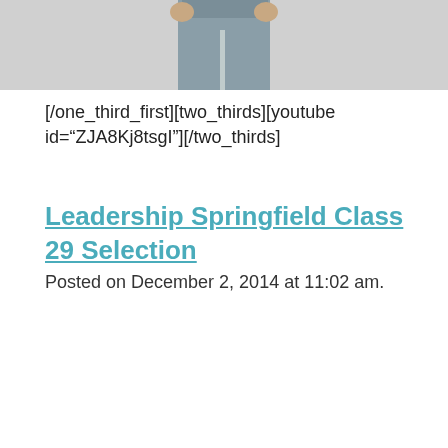[Figure (photo): Partial photo of a person from the waist down, wearing gray jeans, cropped at the top of the page.]
[/one_third_first][two_thirds][youtube id="ZJA8Kj8tsgI"][/two_thirds]
Leadership Springfield Class 29 Selection
Posted on December 2, 2014 at 11:02 am.